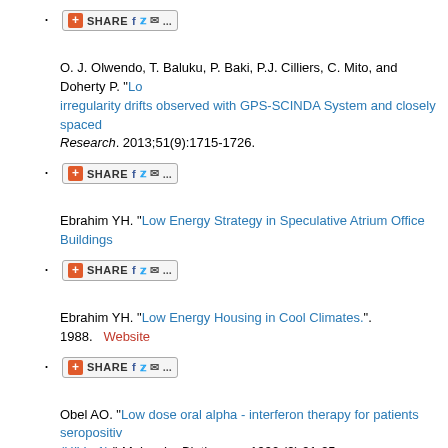[SHARE button] (first entry, truncated)
O. J. Olwendo, T. Baluku, P. Baki, P.J. Cilliers, C. Mito, and Doherty P. "Lo... irregularity drifts observed with GPS-SCINDA System and closely spaced... Research. 2013;51(9):1715-1726.
[SHARE button]
Ebrahim YH. "Low Energy Strategy in Speculative Atrium Office Buildings..."
[SHARE button]
Ebrahim YH. "Low Energy Housing in Cool Climates.". 1988.   Website
[SHARE button]
Obel AO. "Low dose oral alpha - interferon therapy for patients seropositive... (HIV - 1)." Molecular Biotherapy. 1990;(2):91-95.
[SHARE button]
JOAB PROFBWAYOJOB. "Low dose of erythromycin in the treatment of c... J.J. East-AfricanMedical Journal. 1995 Oct; 72(10): 645-8.". In: East-Afric...